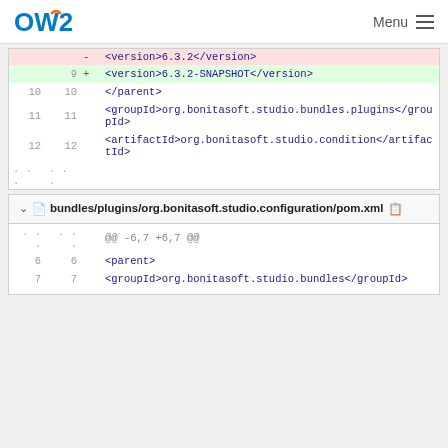OW2 | Menu
[Figure (screenshot): Code diff showing XML version change to 6.3.2-SNAPSHOT with lines 9-12 and ellipsis]
bundles/plugins/org.bonitasoft.studio.configuration/pom.xml
[Figure (screenshot): Code diff showing @@ -6,7 +6,7 @@ with lines 6-7 showing parent and groupId tags]